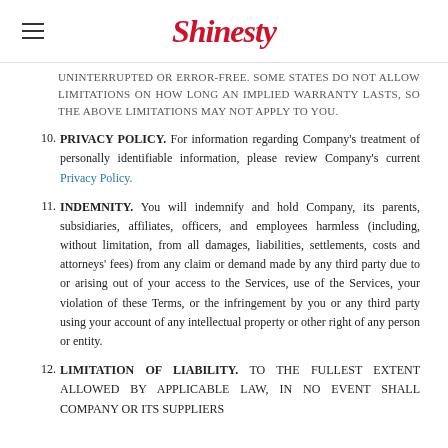Shinesty
UNINTERRUPTED OR ERROR-FREE. SOME STATES DO NOT ALLOW LIMITATIONS ON HOW LONG AN IMPLIED WARRANTY LASTS, SO THE ABOVE LIMITATIONS MAY NOT APPLY TO YOU.
10. PRIVACY POLICY. For information regarding Company's treatment of personally identifiable information, please review Company's current Privacy Policy.
11. INDEMNITY. You will indemnify and hold Company, its parents, subsidiaries, affiliates, officers, and employees harmless (including, without limitation, from all damages, liabilities, settlements, costs and attorneys' fees) from any claim or demand made by any third party due to or arising out of your access to the Services, use of the Services, your violation of these Terms, or the infringement by you or any third party using your account of any intellectual property or other right of any person or entity.
12. LIMITATION OF LIABILITY. TO THE FULLEST EXTENT ALLOWED BY APPLICABLE LAW, IN NO EVENT SHALL COMPANY OR ITS SUPPLIERS